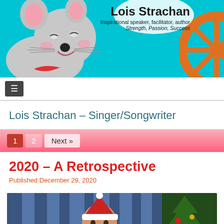[Figure (illustration): Website header banner with cyan/turquoise background, cartoon mouse on left side, orange wheel on right, and text 'Lois Strachan - Inspirational speaker, facilitator, author - Strength, Passion, Success']
≡
Lois Strachan – Singer/Songwriter
1  2  Next »
2020 – A Retrospective
Published December 29, 2020
[Figure (photo): Photo of a person wearing a red Santa hat, smiling, with a Christmas tree visible on the right side]